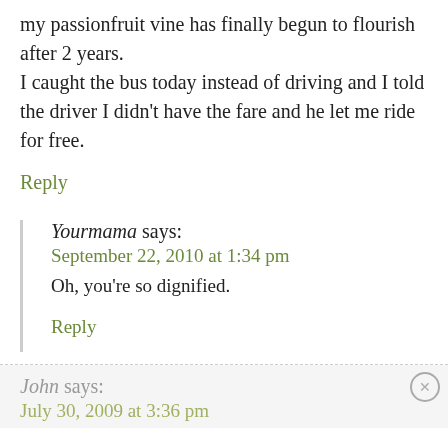my passionfruit vine has finally begun to flourish after 2 years.
I caught the bus today instead of driving and I told the driver I didn't have the fare and he let me ride for free.
Reply
Yourmama says:
September 22, 2010 at 1:34 pm
Oh, you're so dignified.
Reply
John says:
July 30, 2009 at 3:36 pm